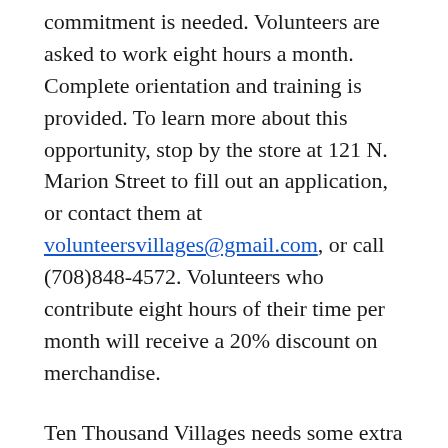commitment is needed. Volunteers are asked to work eight hours a month. Complete orientation and training is provided. To learn more about this opportunity, stop by the store at 121 N. Marion Street to fill out an application, or contact them at volunteersvillages@gmail.com, or call (708)848-4572. Volunteers who contribute eight hours of their time per month will receive a 20% discount on merchandise.
Ten Thousand Villages needs some extra help around the holidays. So check out this volunteer opportunity – it's a great cause and a great group of volunteers (and a generous volunteer benefit – the chance to see all the new merchandise in the store and get a discount on it!)